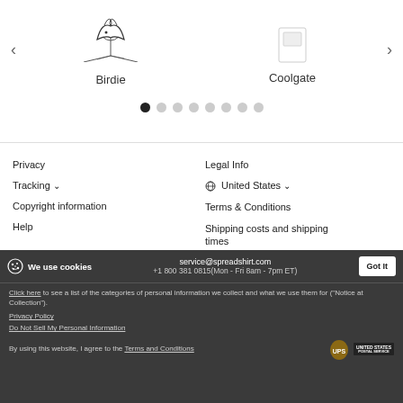[Figure (illustration): Carousel with bird/floral illustration labeled Birdie and Coolgate product, with left and right navigation arrows]
[Figure (infographic): Pagination dots row: 8 dots, first dot filled/active, rest grey]
Privacy
Tracking ˅
Copyright information
Help
Legal Info
🌐 United States ˅
Terms & Conditions
Shipping costs and shipping times
We use cookies
service@spreadshirt.com
+1 800 381 0815(Mon - Fri 8am - 7pm ET)
Click here to see a list of the categories of personal information we collect and what we use them for ("Notice at Collection").
Privacy Policy
Do Not Sell My Personal Information
By using this website, I agree to the Terms and Conditions